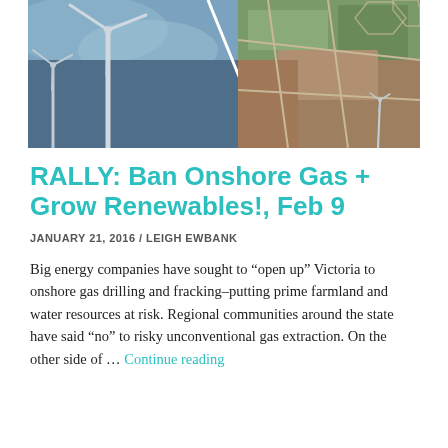[Figure (photo): Composite photo showing wind turbines on the left against a cloudy blue sky, and an aerial view of land with roads/tracks on the right]
RALLY: Ban Onshore Gas + Grow Renewables!, Feb 9
JANUARY 21, 2016 / LEIGH EWBANK
Big energy companies have sought to “open up” Victoria to onshore gas drilling and fracking–putting prime farmland and water resources at risk. Regional communities around the state have said “no” to risky unconventional gas extraction. On the other side of … Continue reading